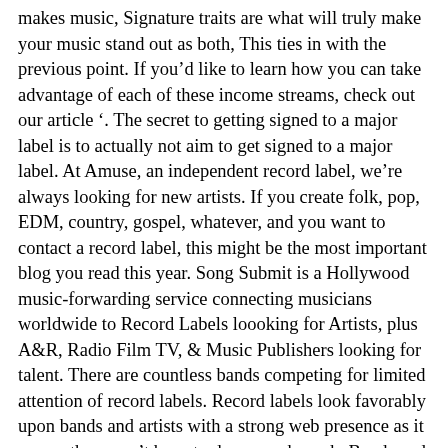makes music, Signature traits are what will truly make your music stand out as both, This ties in with the previous point. If you'd like to learn how you can take advantage of each of these income streams, check out our article '. The secret to getting signed to a major label is to actually not aim to get signed to a major label. At Amuse, an independent record label, we're always looking for new artists. If you create folk, pop, EDM, country, gospel, whatever, and you want to contact a record label, this might be the most important blog you read this year. Song Submit is a Hollywood music-forwarding service connecting musicians worldwide to Record Labels loooking for Artists, plus A&R, Radio Film TV, & Music Publishers looking for talent. There are countless bands competing for limited attention of record labels. Record labels look favorably upon bands and artists with a strong web presence as it means they won't have to do as much work. Bands and artists have been known to do all sorts of crazy things to get noticed. You will find numerous record labels looking for artists both online and offline. Music Distribution This ties in with the previous point. We offer fair, artist-friendly distribution deals with no obligation to sign with us. The best way to create a brand around your musical project is to craft a fully-realized visual identity. DropTrack provides real-time feedback and analytics on who listened to your music, when and where. We get your music heard by industry influencers including global DJs, playlist curators, bloggers, record labels, radio stations, and music supervisors. Allocate a distinct role for each channel from for mixing and mastering the